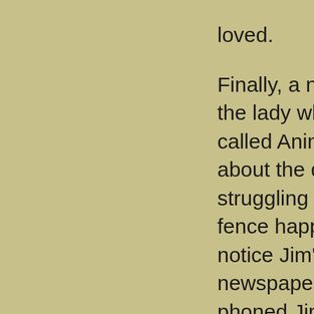loved.

Finally, a neighbor of the lady who had called Animal Control about the dog struggling in the wire fence happened to notice Jim's ad in the newspaper, and phoned Jim. Jim contacted the shelter where Spot had been taken, only to